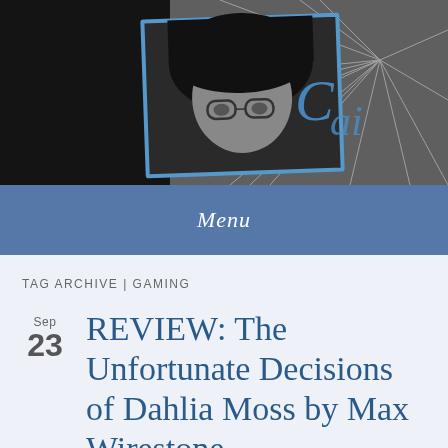[Figure (photo): Blog header banner with black-and-white photo of a person (woman with glasses) in a tilted photo frame with blue border, on a dark background. Right side shows a dandelion/starburst texture in grey tones with blue cursive script text.]
Menu
TAG ARCHIVE | GAMING
REVIEW: The Unfortunate Decisions of Dahlia Moss by Max Wirestone